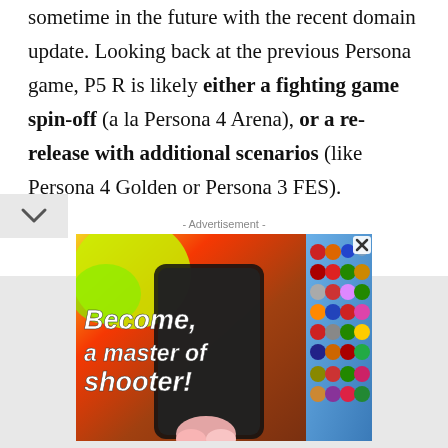sometime in the future with the recent domain update. Looking back at the previous Persona game, P5 R is likely either a fighting game spin-off (a la Persona 4 Arena), or a re-release with additional scenarios (like Persona 4 Golden or Persona 3 FES).
- Advertisement -
[Figure (illustration): Advertisement banner showing a colorful mobile game with text 'Become a master of shooter!' on the left side and a puzzle game grid of emoji-like characters on the right side, with a close (X) button in the top right corner.]